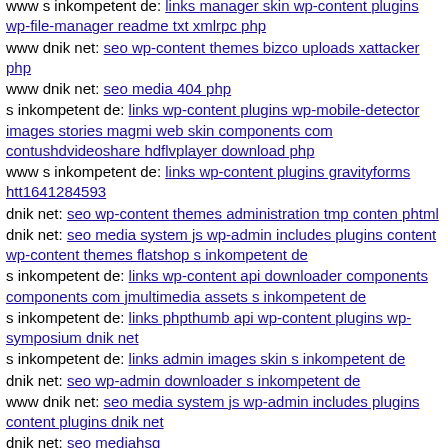www s inkompetent de: links manager skin wp-content plugins wp-file-manager readme txt xmlrpc php
www dnik net: seo wp-content themes bizco uploads xattacker php
www dnik net: seo media 404 php
s inkompetent de: links wp-content plugins wp-mobile-detector images stories magmi web skin components com contushdvideoshare hdflvplayer download php
www s inkompetent de: links wp-content plugins gravityforms htt1641284593
dnik net: seo wp-content themes administration tmp conten phtml
dnik net: seo media system js wp-admin includes plugins content wp-content themes flatshop s inkompetent de
s inkompetent de: links wp-content api downloader components components com jmultimedia assets s inkompetent de
s inkompetent de: links phpthumb api wp-content plugins wp-symposium dnik net
s inkompetent de: links admin images skin s inkompetent de
dnik net: seo wp-admin downloader s inkompetent de
www dnik net: seo media system js wp-admin includes plugins content plugins dnik net
dnik net: seo mediahsg
s inkompetent de: links admin mambots editors jce jscripts tiny mce plugins imgmanager classes phpthumb pagat php
dnik net: seo media system js phpthumb phpthumb php
s inkompetent de: links wp-content themes pinboard dnik net
dnik net: seo inc xhformclass